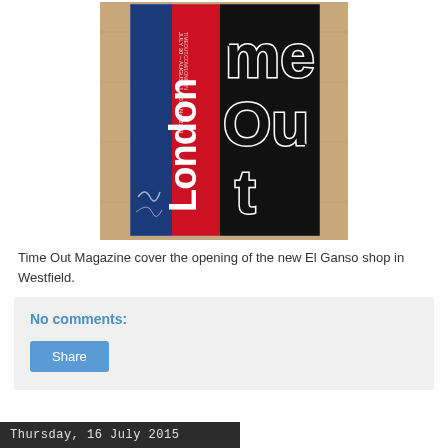[Figure (photo): Time Out London magazine cover laid flat on a wooden surface, showing the title 'Time Out' in large white-outlined black letters and 'London' rotated vertically on a red background strip, with blue and other colors visible.]
Time Out Magazine cover the opening of the new El Ganso shop in Westfield.
No comments:
Share
Thursday, 16 July 2015